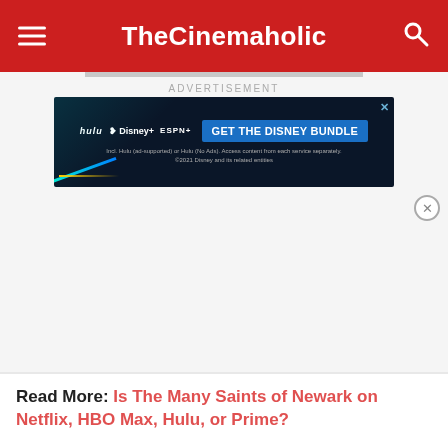TheCinemaholic
ADVERTISEMENT
[Figure (screenshot): Disney Bundle advertisement banner showing Hulu, Disney+, and ESPN+ logos with 'GET THE DISNEY BUNDLE' call to action button on dark background. Fine print: Incl. Hulu (ad-supported) or Hulu (No Ads). Access content from each service separately. ©2021 Disney and its related entities]
Read More: Is The Many Saints of Newark on Netflix, HBO Max, Hulu, or Prime?